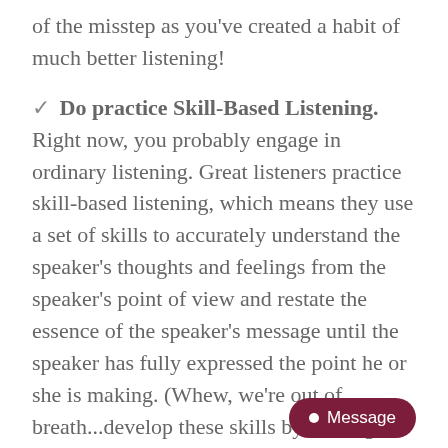of the misstep as you've created a habit of much better listening!
✓ Do practice Skill-Based Listening. Right now, you probably engage in ordinary listening. Great listeners practice skill-based listening, which means they use a set of skills to accurately understand the speaker's thoughts and feelings from the speaker's point of view and restate the essence of the speaker's message until the speaker has fully expressed the point he or she is making. (Whew, we're out of breath...develop these skills by reading Listen Up or Lose Out)